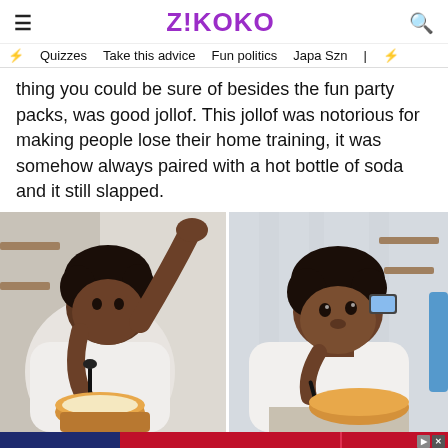Z!KOKO
Quizzes | Take this advice | Fun politics | Japa Szn
thing you could be sure of besides the fun party packs, was good jollof. This jollof was notorious for making people lose their home training, it was somehow always paired with a hot bottle of soda and it still slapped.
[Figure (photo): Two side-by-side photos of a young Black child eating from a paper bowl with a black spoon. Left photo shows the child looking down and reaching with one arm raised. Right photo shows the child looking up with a curious expression, holding a spoon near a bowl.]
[Figure (infographic): Advertisement banner for Capital Home Show, Sept. 23-25 at Dulles Expo Center. Save $3 Now. Buy Now button.]